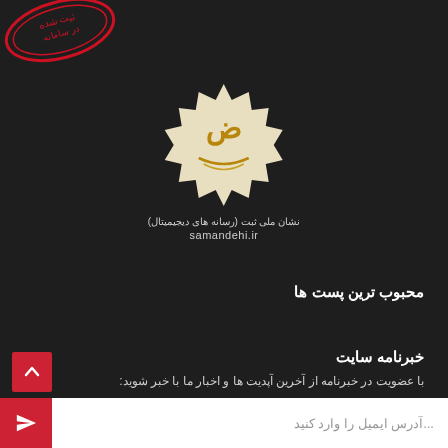[Figure (logo): Red oval stamp with Persian text at top-left corner, partially cut off]
[Figure (logo): Samandehi national registration badge - gold Arabic/Persian calligraphy on beige starburst/badge shape with dark background]
نشان ملی ثبت (رسانه های دیجیمیتال)
samandehi.ir
محبوب ترین پست ها
خبرنامه سایت
با عضویت در خبرنامه از آخرین آپدیت ها و اخبار ما با خبر شوید:
...آدرس ایمیل را وارد کنید